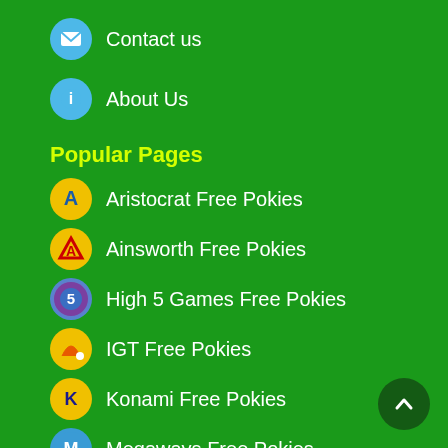Contact us
About Us
Popular Pages
Aristocrat Free Pokies
Ainsworth Free Pokies
High 5 Games Free Pokies
IGT Free Pokies
Konami Free Pokies
Megaways Free Pokies
WMS Free Pokies
Mobile Pokies